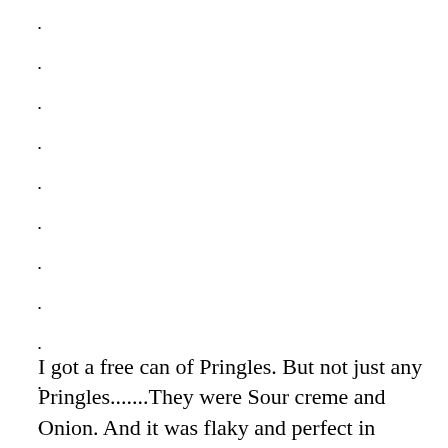•
•
•
•
•
•
•
•
•
•
•
I got a free can of Pringles. But not just any Pringles.......They were Sour creme and Onion. And it was flaky and perfect in every way...